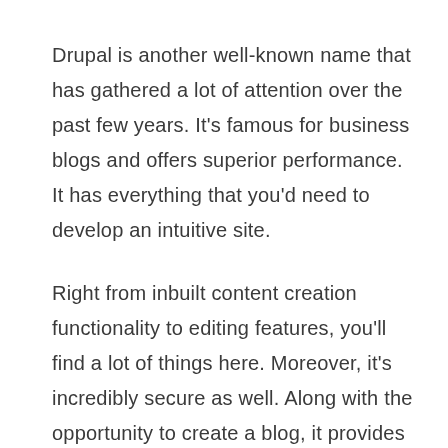Drupal is another well-known name that has gathered a lot of attention over the past few years. It's famous for business blogs and offers superior performance. It has everything that you'd need to develop an intuitive site.
Right from inbuilt content creation functionality to editing features, you'll find a lot of things here. Moreover, it's incredibly secure as well. Along with the opportunity to create a blog, it provides hosting services as well.